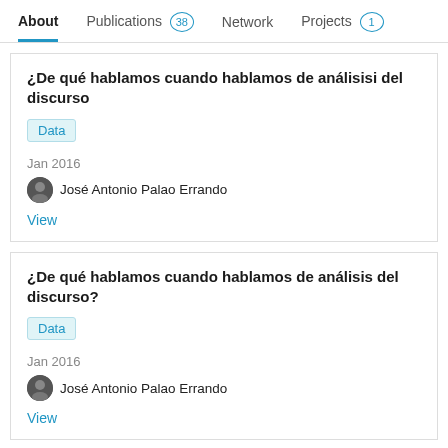About  Publications 38  Network  Projects 1
¿De qué hablamos cuando hablamos de análisisi del discurso
Data
Jan 2016
José Antonio Palao Errando
View
¿De qué hablamos cuando hablamos de análisis del discurso?
Data
Jan 2016
José Antonio Palao Errando
View
¿De qué hablamos cuando hablamos de análisis del